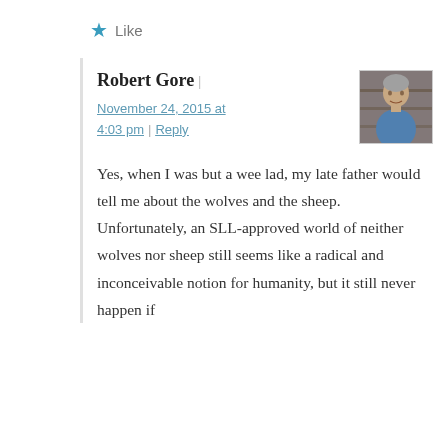★ Like
Robert Gore |
November 24, 2015 at 4:03 pm | Reply
[Figure (photo): Small portrait photo of a man, middle-aged, with gray hair, wearing a blue shirt, against a bookshelf background.]
Yes, when I was but a wee lad, my late father would tell me about the wolves and the sheep. Unfortunately, an SLL-approved world of neither wolves nor sheep still seems like a radical and inconceivable notion for humanity, but it still never happen if